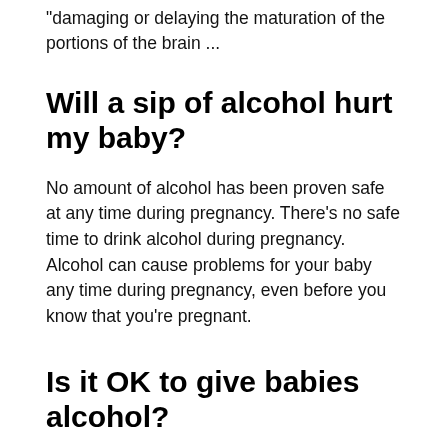"damaging or delaying the maturation of the portions of the brain ...
Will a sip of alcohol hurt my baby?
No amount of alcohol has been proven safe at any time during pregnancy. There’s no safe time to drink alcohol during pregnancy. Alcohol can cause problems for your baby any time during pregnancy, even before you know that you’re pregnant.
Is it OK to give babies alcohol?
Alcohol Is Not Safe For Children Babies are so small